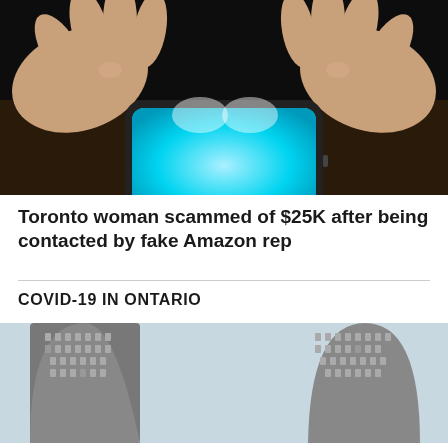[Figure (photo): Two hands holding a glowing blue smartphone in a dark setting, viewed from above.]
Toronto woman scammed of $25K after being contacted by fake Amazon rep
COVID-19 IN ONTARIO
[Figure (photo): A low-angle view of tall curved modernist building towers against an overcast sky, likely Toronto City Hall.]